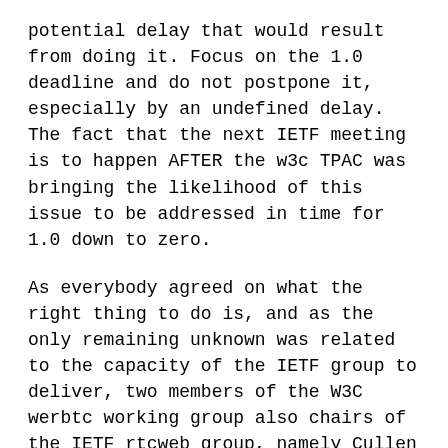potential delay that would result from doing it. Focus on the 1.0 deadline and do not postpone it, especially by an undefined delay. The fact that the next IETF meeting is to happen AFTER the w3c TPAC was bringing the likelihood of this issue to be addressed in time for 1.0 down to zero.
As everybody agreed on what the right thing to do is, and as the only remaining unknown was related to the capacity of the IETF group to deliver, two members of the W3C werbtc working group also chairs of the IETF rtcweb group, namely Cullen J, from Cisco and Peter H. from Google reached out to their pendant at MMUSIC to probe interest of MMUSIC to have an interim meeting early enough to allow for this specific spec to surface and remove that concern from the table. As of today, the answer